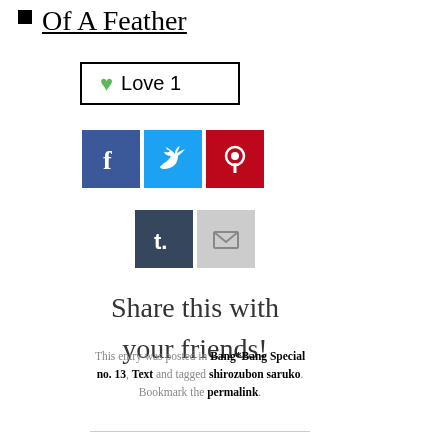Of A Feather
[Figure (other): Love button with green heart icon showing count 1, bordered box]
[Figure (other): Social sharing icons: Facebook (blue), Twitter (light blue), Pinterest (red), Tumblr (dark blue), Email (gray)]
Share this with your friends!
This entry was posted in Bang*Bang Special no. 13, Text and tagged shirozubon saruko. Bookmark the permalink.